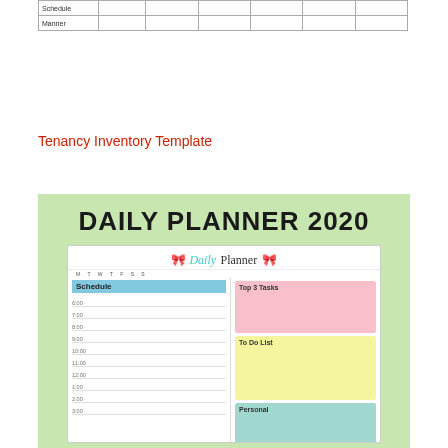|  |  |  |  |  |  |  |
| --- | --- | --- | --- | --- | --- | --- |
| Schedule |  |  |  |  |  |  |
| Manner |  |  |  |  |  |  |
Tenancy Inventory Template
[Figure (illustration): Daily Planner 2020 template preview showing a planner page with schedule column, Top 3 Tasks (pink), To Do List (yellow), and Personal (teal) sections on a green background.]